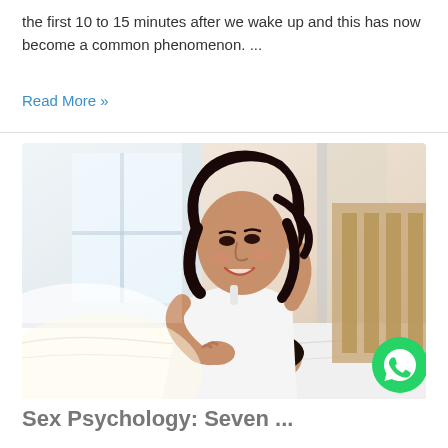the first 10 to 15 minutes after we wake up and this has now become a common phenomenon. ...
Read More »
[Figure (photo): A smiling woman sitting up in bed leaning over a man lying down, both appear happy in a bright bedroom setting. A WhatsApp icon is overlaid in the bottom-right corner of the image.]
Sex Psychology: Seven ...